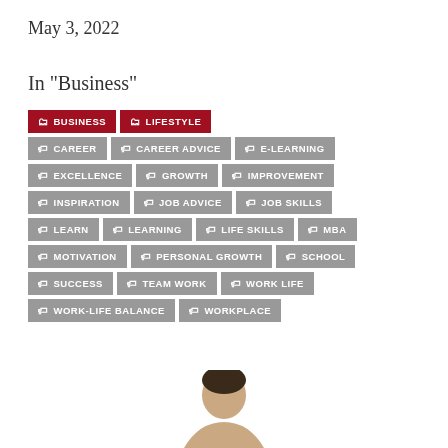May 3, 2022
In "Business"
BUSINESS
LIFESTYLE
CAREER
CAREER ADVICE
E-LEARNING
EXCELLENCE
GROWTH
IMPROVEMENT
INSPIRATION
JOB ADVICE
JOB SKILLS
LEARN
LEARNING
LIFE SKILLS
MBA
MOTIVATION
PERSONAL GROWTH
SCHOOL
SUCCESS
TEAM WORK
WORK LIFE
WORK-LIFE BALANCE
WORKPLACE
[Figure (photo): Partial photo of a person at the bottom of the page]